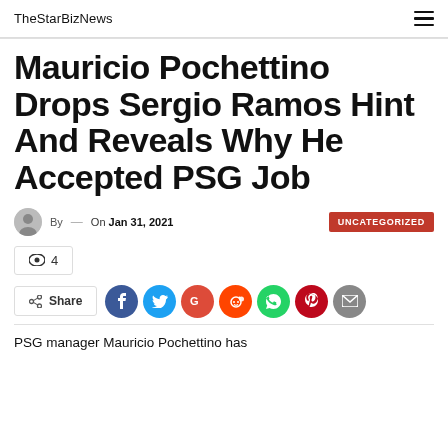TheStarBizNews
Mauricio Pochettino Drops Sergio Ramos Hint And Reveals Why He Accepted PSG Job
By — On Jan 31, 2021 UNCATEGORIZED
4
Share
PSG manager Mauricio Pochettino has